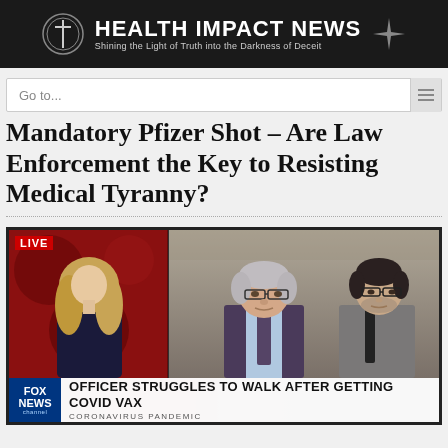HEALTH IMPACT NEWS — Shining the Light of Truth into the Darkness of Deceit
Go to...
Mandatory Pfizer Shot – Are Law Enforcement the Key to Resisting Medical Tyranny?
[Figure (screenshot): Fox News live TV screenshot showing a female anchor on the left and two men seated on the right, with lower-third chyron reading: OFFICER STRUGGLES TO WALK AFTER GETTING COVID VAX / CORONAVIRUS PANDEMIC]